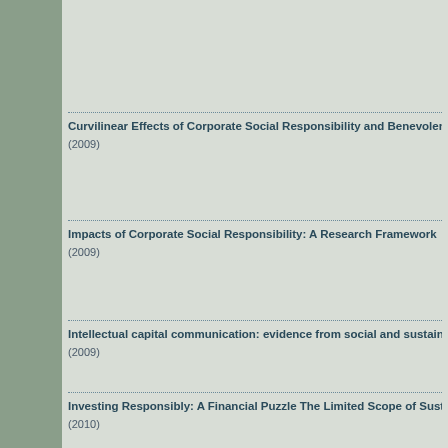Curvilinear Effects of Corporate Social Responsibility and Benevolence (2009)
Impacts of Corporate Social Responsibility: A Research Framework (2009)
Intellectual capital communication: evidence from social and sustaina... (2009)
Investing Responsibly: A Financial Puzzle The Limited Scope of Susta... (2010)